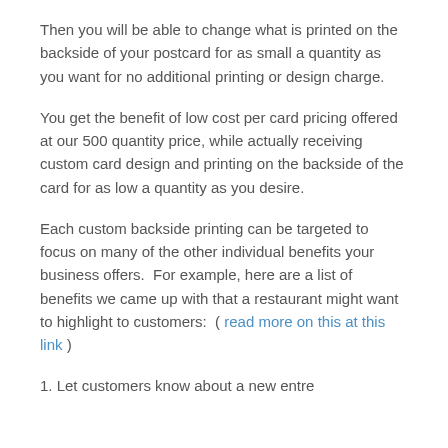Then you will be able to change what is printed on the backside of your postcard for as small a quantity as you want for no additional printing or design charge.
You get the benefit of low cost per card pricing offered at our 500 quantity price, while actually receiving custom card design and printing on the backside of the card for as low a quantity as you desire.
Each custom backside printing can be targeted to focus on many of the other individual benefits your business offers.  For example, here are a list of benefits we came up with that a restaurant might want to highlight to customers:  ( read more on this at this link )
1. Let customers know about a new entre